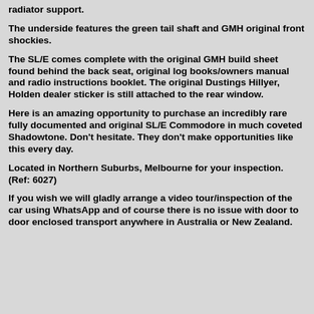radiator support.
The underside features the green tail shaft and GMH original front shockies.
The SL/E comes complete with the original GMH build sheet found behind the back seat, original log books/owners manual and radio instructions booklet. The original Dustings Hillyer, Holden dealer sticker is still attached to the rear window.
Here is an amazing opportunity to purchase an incredibly rare fully documented and original SL/E Commodore in much coveted Shadowtone. Don't hesitate. They don't make opportunities like this every day.
Located in Northern Suburbs, Melbourne for your inspection. (Ref: 6027)
If you wish we will gladly arrange a video tour/inspection of the car using WhatsApp and of course there is no issue with door to door enclosed transport anywhere in Australia or New Zealand.